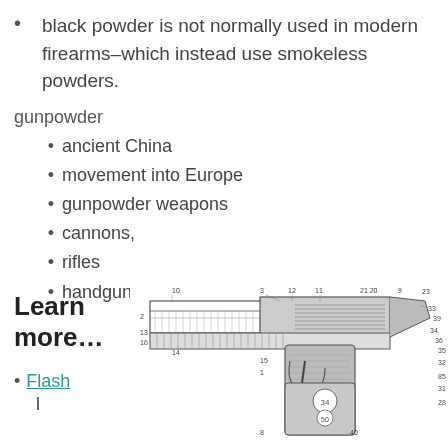black powder is not normally used in modern firearms–which instead use smokeless powders.
gunpowder
ancient China
movement into Europe
gunpowder weapons
cannons,
rifles
handguns
Learn more…
Flash
[Figure (engineering-diagram): Patent-style technical drawing of a semi-automatic pistol with numbered parts, showing a cross-section side view with numerous reference numerals.]